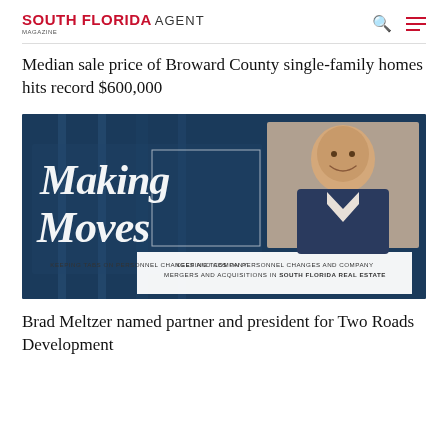SOUTH FLORIDA AGENT MAGAZINE
Median sale price of Broward County single-family homes hits record $600,000
[Figure (illustration): Making Moves banner image showing a bald man in a suit smiling, with script text 'Making Moves' overlaid on a dark blue background. Subtitle reads: KEEPING TABS ON PERSONNEL CHANGES AND COMPANY MERGERS AND ACQUISITIONS IN SOUTH FLORIDA REAL ESTATE]
Brad Meltzer named partner and president for Two Roads Development